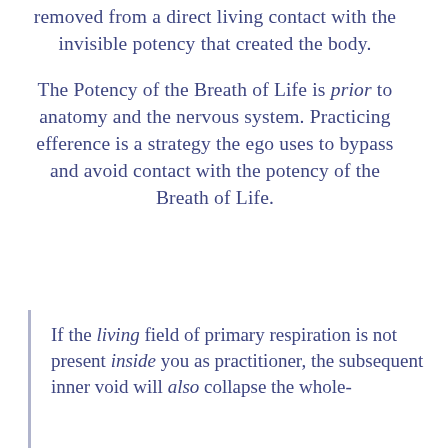removed from a direct living contact with the invisible potency that created the body.
The Potency of the Breath of Life is prior to anatomy and the nervous system. Practicing efference is a strategy the ego uses to bypass and avoid contact with the potency of the Breath of Life.
If the living field of primary respiration is not present inside you as practitioner, the subsequent inner void will also collapse the whole-